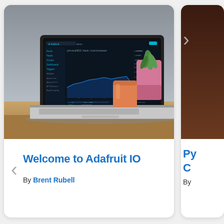[Figure (screenshot): Laptop on a wooden desk showing the Adafruit IO dashboard interface with a dark-themed web app, line chart, and sidebar navigation. A pink plant pot with a succulent and an orange cup are in the background.]
Welcome to Adafruit IO
By Brent Rubell